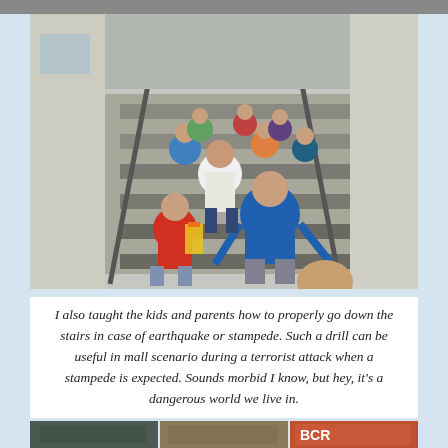[Figure (photo): Children and adults walking down an outdoor staircase in what appears to be a school building, practicing an evacuation drill. A girl in a red shirt and a boy in a blue shirt are in the foreground.]
I also taught the kids and parents how to properly go down the stairs in case of earthquake or stampede. Such a drill can be useful in mall scenario during a terrorist attack when a stampede is expected. Sounds morbid I know, but hey, it's a dangerous world we live in.
[Figure (photo): Three small thumbnail photos at the bottom of the page.]